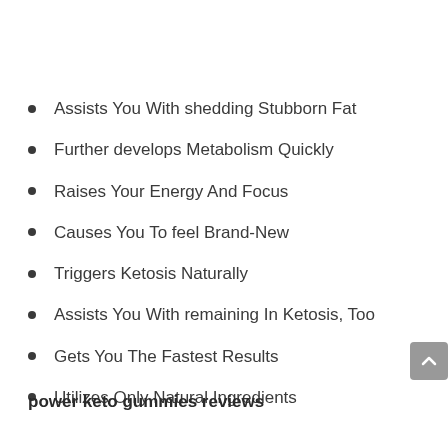Assists You With shedding Stubborn Fat
Further develops Metabolism Quickly
Raises Your Energy And Focus
Causes You To feel Brand-New
Triggers Ketosis Naturally
Assists You With remaining In Ketosis, Too
Gets You The Fastest Results
Utilizes Only Natural Ingredients
power keto gummies reviews